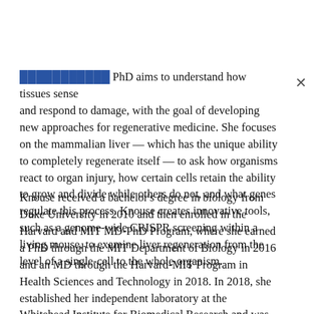[link] PhD aims to understand how tissues sense and respond to damage, with the goal of developing new approaches for regenerative medicine. She focuses on the mammalian liver — which has the unique ability to completely regenerate itself — to ask how organisms react to organ injury, how certain cells retain the ability to grow and divide while others do not, and what genes regulate this process. Knouse creates innovative tools, such as a genome-wide CRISPR screening within a living mouse, to examine liver regeneration from the level of a single-cell to the whole organism.
Knouse received a bachelor's degree in biology from Duke University in 2010 and then enrolled in the Harvard and MIT MD-PhD Program, where she earned a PhD through the MIT Department of Biology in 2016 and an MD through the Harvard-MIT Program in Health Sciences and Technology in 2018. In 2018, she established her independent laboratory at the Whitehead Institute for Biomedical Research and was